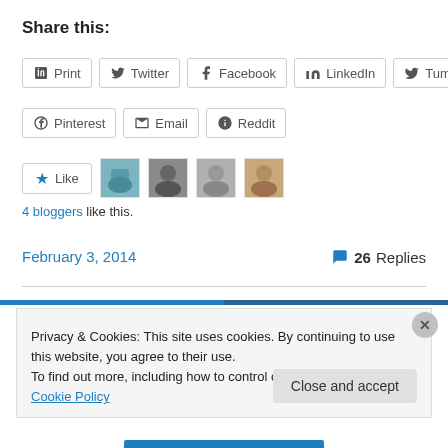Share this:
Print | Twitter | Facebook | LinkedIn | Tumblr | Pinterest | Email | Reddit
[Figure (other): Like button with star icon and 4 blogger avatar photos]
4 bloggers like this.
February 3, 2014
💬 26 Replies
Privacy & Cookies: This site uses cookies. By continuing to use this website, you agree to their use.
To find out more, including how to control cookies, see here: Cookie Policy
Close and accept